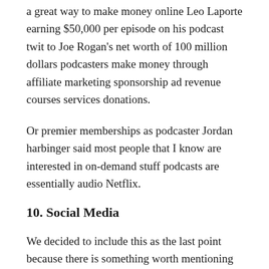a great way to make money online Leo Laporte earning $50,000 per episode on his podcast twit to Joe Rogan's net worth of 100 million dollars podcasters make money through affiliate marketing sponsorship ad revenue courses services donations.
Or premier memberships as podcaster Jordan harbinger said most people that I know are interested in on-demand stuff podcasts are essentially audio Netflix.
10. Social Media
We decided to include this as the last point because there is something worth mentioning here social media gets a bad rap because people are straight-up using it wrong.